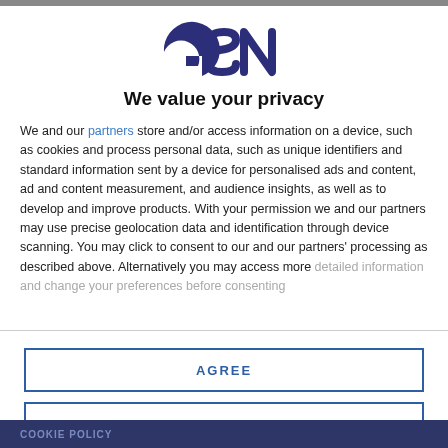[Figure (logo): GSN logo in dark navy/purple lettering]
We value your privacy
We and our partners store and/or access information on a device, such as cookies and process personal data, such as unique identifiers and standard information sent by a device for personalised ads and content, ad and content measurement, and audience insights, as well as to develop and improve products. With your permission we and our partners may use precise geolocation data and identification through device scanning. You may click to consent to our and our partners' processing as described above. Alternatively you may access more detailed information and change your preferences before consenting
AGREE
MORE OPTIONS
COOKIE POLICY